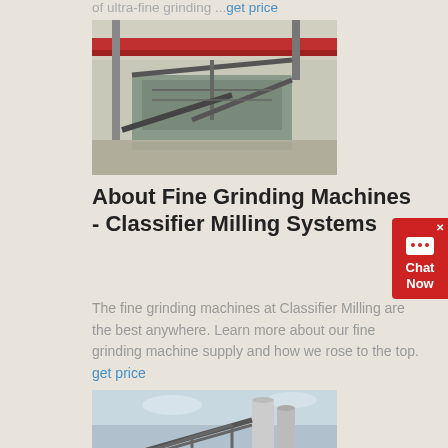of ultra-fine grinding ...get price
[Figure (photo): Industrial grinding machine inside a warehouse facility with red crane beam overhead]
About Fine Grinding Machines - Classifier Milling Systems
The fine grinding machines at Classifier Milling are the best anywhere. Learn more about our fine grinding machine supply and how we rose to the top. get price
[Figure (photo): Outdoor industrial milling facility with conveyor belt structures and silos]